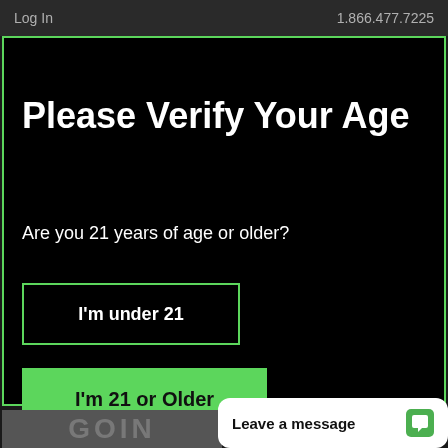Log In    1.866.477.7225
Please Verify Your Age
Are you 21 years of age or older?
I'm under 21
I'm 21 or Older
Leave a message